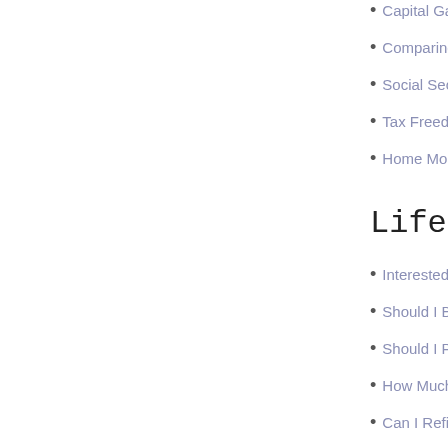Capital Ga…
Comparing…
Social Secr…
Tax Freedo…
Home Mort…
Lifestyle
Interested i…
Should I Bu…
Should I Pa…
How Much …
Can I Refin…
Comparing…
Bi-Weekly …